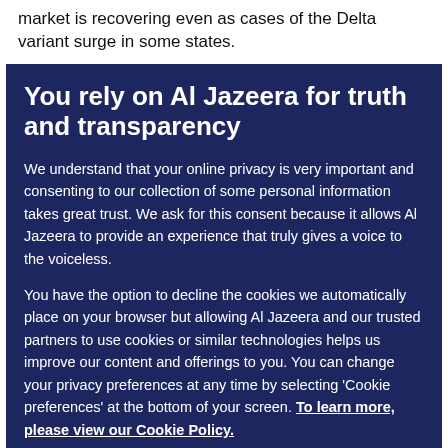market is recovering even as cases of the Delta variant surge in some states.
You rely on Al Jazeera for truth and transparency
We understand that your online privacy is very important and consenting to our collection of some personal information takes great trust. We ask for this consent because it allows Al Jazeera to provide an experience that truly gives a voice to the voiceless.
You have the option to decline the cookies we automatically place on your browser but allowing Al Jazeera and our trusted partners to use cookies or similar technologies helps us improve our content and offerings to you. You can change your privacy preferences at any time by selecting 'Cookie preferences' at the bottom of your screen. To learn more, please view our Cookie Policy.